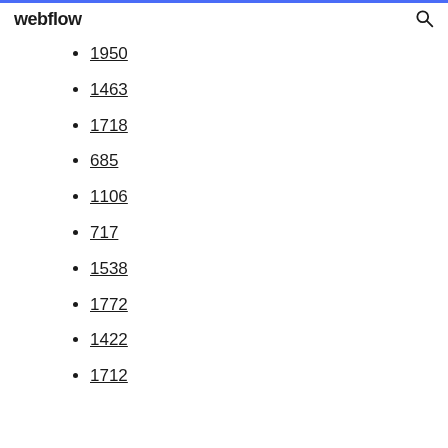webflow
1950
1463
1718
685
1106
717
1538
1772
1422
1712